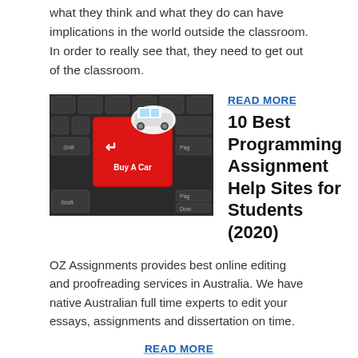what they think and what they do can have implications in the world outside the classroom. In order to really see that, they need to get out of the classroom.
[Figure (photo): A keyboard with a red 'Buy A Car' key that has a toy car sitting on it, with 'Shift', 'Page', and 'Down' keys visible.]
READ MORE
10 Best Programming Assignment Help Sites for Students (2020)
OZ Assignments provides best online editing and proofreading services in Australia. We have native Australian full time experts to edit your essays, assignments and dissertation on time.
READ MORE
How to Do Well in an Online College Course: 13 Steps
Best website to do assignments Is one of the very few seconds who handles hundreds of students on a daily basis. Make a